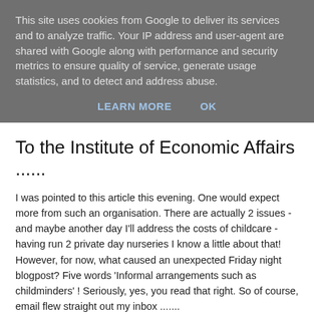This site uses cookies from Google to deliver its services and to analyze traffic. Your IP address and user-agent are shared with Google along with performance and security metrics to ensure quality of service, generate usage statistics, and to detect and address abuse.
LEARN MORE    OK
To the Institute of Economic Affairs ......
I was pointed to this article this evening. One would expect more from such an organisation. There are actually 2 issues - and maybe another day I'll address the costs of childcare - having run 2 private day nurseries I know a little about that! However, for now, what caused an unexpected Friday night blogpost? Five words  'Informal arrangements such as childminders' ! Seriously, yes, you read that right. So of course, email flew straight out my inbox .......
'Dear Ms Goodwin,
I was pointed towards your short article on the above dated